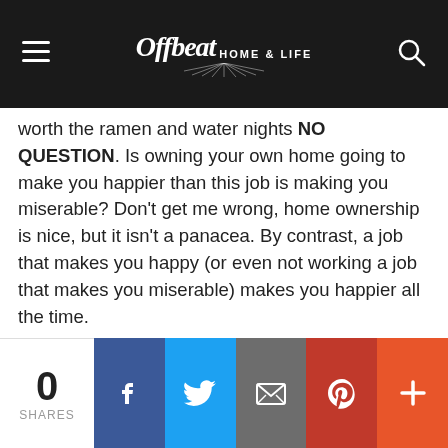Offbeat HOME & LIFE
worth the ramen and water nights NO QUESTION. Is owning your own home going to make you happier than this job is making you miserable? Don't get me wrong, home ownership is nice, but it isn't a panacea. By contrast, a job that makes you happy (or even not working a job that makes you miserable) makes you happier all the time.
If you don't need the job to maintain your current quality of life, and it is making you THAT miserable, dump it. Home ownership can wait. Renting really isn't all that bad (it's nice to have maintenance be someone else's problem!).
0 SHARES | Facebook | Twitter | Email | Pinterest | More